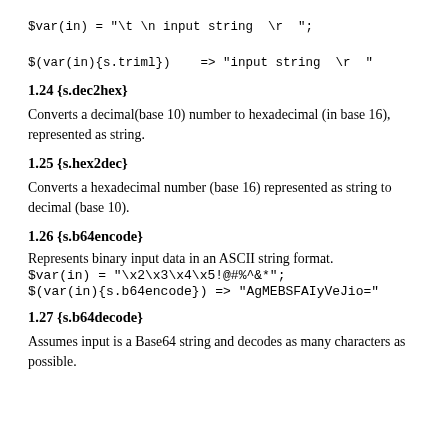$var(in) = "\t \n input string  \r  ";
$(var(in){s.triml})    => "input string  \r  "
1.24 {s.dec2hex}
Converts a decimal(base 10) number to hexadecimal (in base 16), represented as string.
1.25 {s.hex2dec}
Converts a hexadecimal number (base 16) represented as string to decimal (base 10).
1.26 {s.b64encode}
Represents binary input data in an ASCII string format.
$var(in) = "\x2\x3\x4\x5!@#%^&*";
$(var(in){s.b64encode})    => "AgMEBSFAIyVeJio="
1.27 {s.b64decode}
Assumes input is a Base64 string and decodes as many characters as possible.